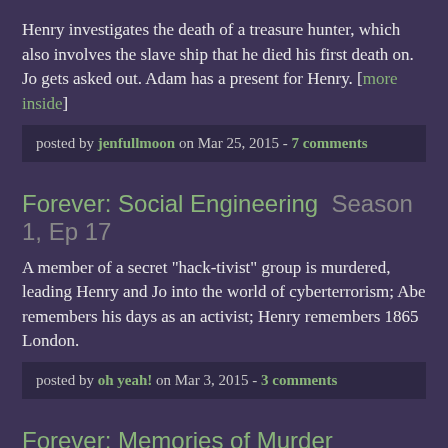Henry investigates the death of a treasure hunter, which also involves the slave ship that he died his first death on. Jo gets asked out. Adam has a present for Henry. [more inside]
posted by jenfullmoon on Mar 25, 2015 - 7 comments
Forever: Social Engineering  Season 1, Ep 17
A member of a secret "hack-tivist" group is murdered, leading Henry and Jo into the world of cyberterrorism; Abe remembers his days as an activist; Henry remembers 1865 London.
posted by oh yeah! on Mar 3, 2015 - 3 comments
Forever: Memories of Murder  Season 1, Ep 16
A young college student obsessed with the 1970s is